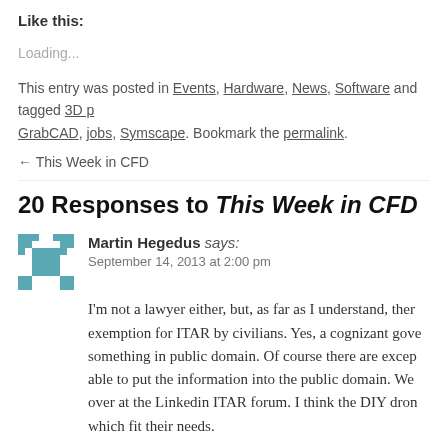Like this:
Loading...
This entry was posted in Events, Hardware, News, Software and tagged 3D p, GrabCAD, jobs, Symscape. Bookmark the permalink.
← This Week in CFD
20 Responses to This Week in CFD
Martin Hegedus says:
September 14, 2013 at 2:00 pm
I'm not a lawyer either, but, as far as I understand, ther exemption for ITAR by civilians. Yes, a cognizant gove something in public domain. Of course there are excep able to put the information into the public domain. We over at the Linkedin ITAR forum. I think the DIY dron which fit their needs.